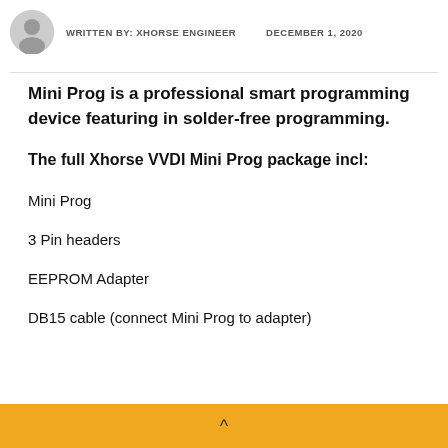WRITTEN BY: XHORSE ENGINEER   DECEMBER 1, 2020
Mini Prog is a professional smart programming device featuring in solder-free programming.
The full Xhorse VVDI Mini Prog package incl:
Mini Prog
3 Pin headers
EEPROM Adapter
DB15 cable (connect Mini Prog to adapter)
^